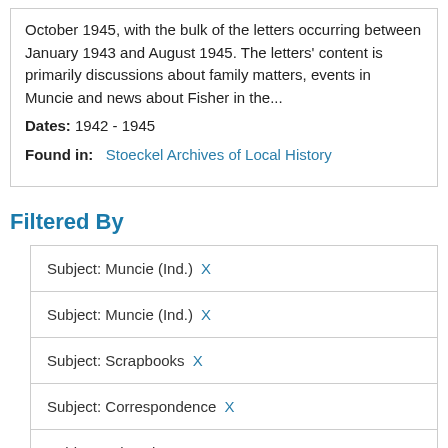October 1945, with the bulk of the letters occurring between January 1943 and August 1945. The letters' content is primarily discussions about family matters, events in Muncie and news about Fisher in the...
Dates: 1942 - 1945
Found in: Stoeckel Archives of Local History
Filtered By
Subject: Muncie (Ind.) X
Subject: Muncie (Ind.) X
Subject: Scrapbooks X
Subject: Correspondence X
Subject: Education X
Subject: Muncie (Ind.) X